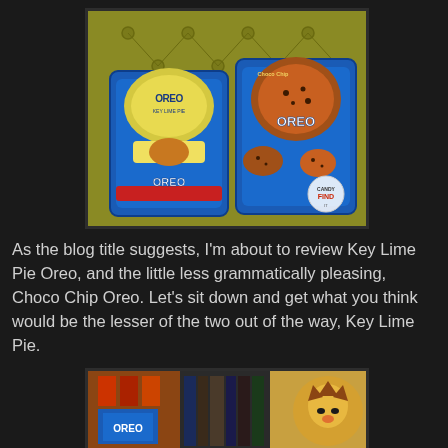[Figure (photo): Two packages of Oreo cookies on a yellow tufted couch: Key Lime Pie Oreo (left, in blue package) and Choco Chip Oreo (right, in blue package). A small clock watermark logo visible in lower right corner.]
As the blog title suggests, I'm about to review Key Lime Pie Oreo, and the little less grammatically pleasing, Choco Chip Oreo. Let's sit down and get what you think would be the lesser of the two out of the way, Key Lime Pie.
[Figure (photo): Partial view of Oreo cookie packages with colorful backgrounds including what appears to be books and other items in the background.]